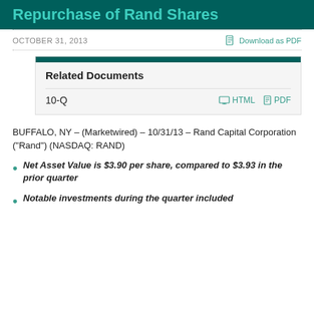Repurchase of Rand Shares
OCTOBER 31, 2013   Download as PDF
Related Documents
10-Q   HTML   PDF
BUFFALO, NY – (Marketwired) – 10/31/13 – Rand Capital Corporation ("Rand") (NASDAQ: RAND)
Net Asset Value is $3.90 per share, compared to $3.93 in the prior quarter
Notable investments during the quarter included